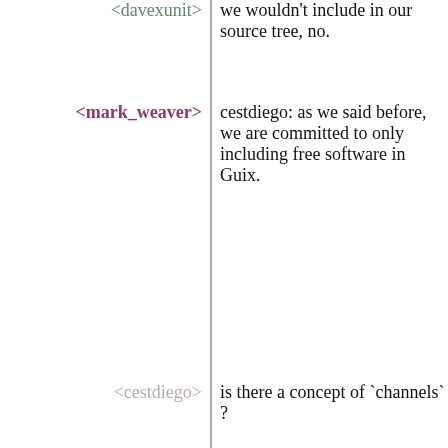<davexunit> we wouldn't include in our source tree, no.
<mark_weaver> cestdiego: as we said before, we are committed to only including free software in Guix.
<cestdiego> is there a concept of `channels` ?
<davexunit> you're free to package whatever you'd like for your own usage, but we only accept free software upstream.
<mark_weaver> however, we provide